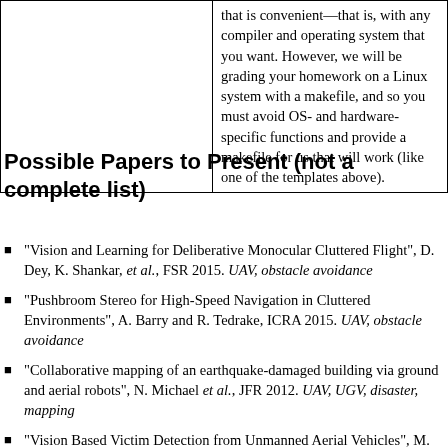|  | that is convenient—that is, with any compiler and operating system that you want. However, we will be grading your homework on a Linux system with a makefile, and so you must avoid OS- and hardware-specific functions and provide a makefile for us that will work (like one of the templates above). |
Possible Papers to Present (not a complete list)
"Vision and Learning for Deliberative Monocular Cluttered Flight", D. Dey, K. Shankar, et al., FSR 2015. UAV, obstacle avoidance
"Pushbroom Stereo for High-Speed Navigation in Cluttered Environments", A. Barry and R. Tedrake, ICRA 2015. UAV, obstacle avoidance
"Collaborative mapping of an earthquake-damaged building via ground and aerial robots", N. Michael et al., JFR 2012. UAV, UGV, disaster, mapping
"Vision Based Victim Detection from Unmanned Aerial Vehicles", M. Andriluka et al., IROS 2010. UAV, person detection
"Biped Navigation in Rough Environments using On-board